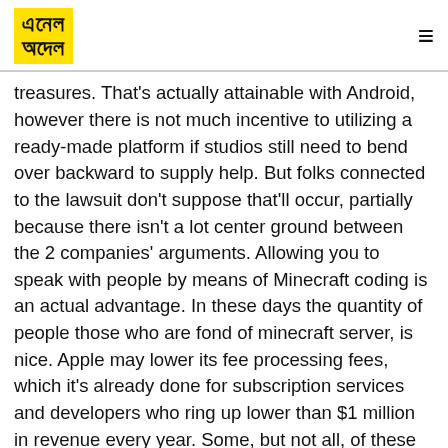এনেল অদেল (logo) | hamburger menu
treasures. That's actually attainable with Android, however there is not much incentive to utilizing a ready-made platform if studios still need to bend over backward to supply help. But folks connected to the lawsuit don't suppose that'll occur, partially because there isn't a lot center ground between the 2 companies' arguments. Allowing you to speak with people by means of Minecraft coding is an actual advantage. In these days the quantity of people those who are fond of minecraft server, is nice. Apple may lower its fee processing fees, which it's already done for subscription services and developers who ring up lower than $1 million in revenue every year. Some, but not all, of these iPad games are available as part of Apple's gaming subscription service, Apple Arcade. Djay 2 - Scratch your own tunes, combine tracks, add effects and more with the most characteristic-packed DJ app for iPad. We've received you lined with an inventory of the 30 finest iPad games for youths, with Apple's age score for each (scroll further down